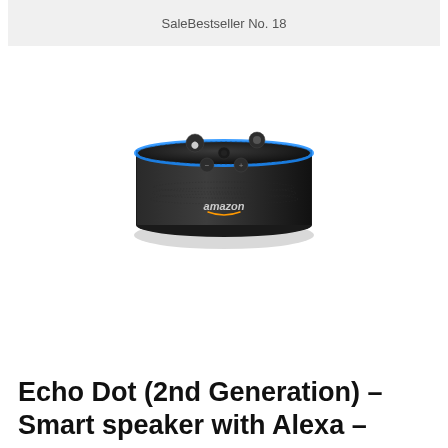SaleBestseller No. 18
[Figure (photo): Amazon Echo Dot 2nd Generation smart speaker, black circular device with blue ring light, Amazon logo on front, top buttons visible, viewed from slight angle above]
Echo Dot (2nd Generation) – Smart speaker with Alexa –